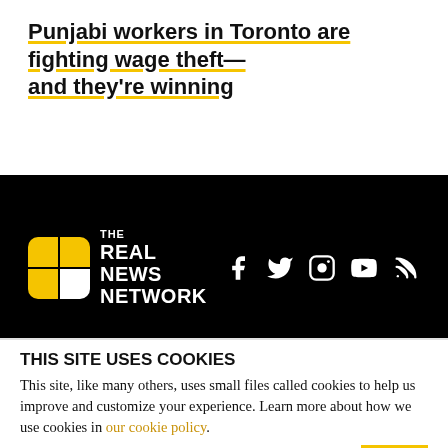Punjabi workers in Toronto are fighting wage theft—and they're winning
[Figure (logo): The Real News Network logo with yellow/white grid icon and white text, with social media icons for Facebook, Twitter, Instagram, YouTube, and RSS]
TRNN
About The Real News Network
THIS SITE USES COOKIES
This site, like many others, uses small files called cookies to help us improve and customize your experience. Learn more about how we use cookies in our cookie policy.
Learn more about cookies
OK